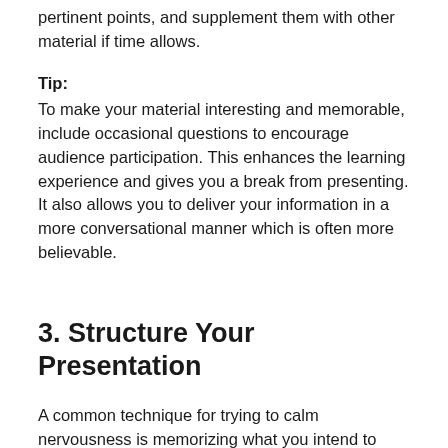pertinent points, and supplement them with other material if time allows.
Tip:
To make your material interesting and memorable, include occasional questions to encourage audience participation. This enhances the learning experience and gives you a break from presenting. It also allows you to deliver your information in a more conversational manner which is often more believable.
3. Structure Your Presentation
A common technique for trying to calm nervousness is memorizing what you intend to say. But all this does is make your delivery sound like it's coming from a robot. If you miss a word or draw a blank, your whole presentation is thrown off, and then your nervousness compounds itself with every remaining second. It's far better to structure your presentation so that you give yourself clues to what's